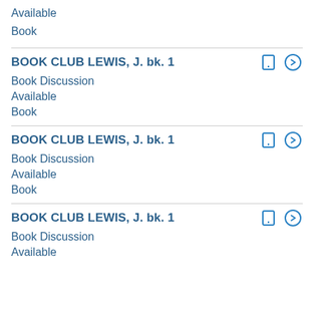Available
Book
BOOK CLUB LEWIS, J. bk. 1
Book Discussion
Available
Book
BOOK CLUB LEWIS, J. bk. 1
Book Discussion
Available
Book
BOOK CLUB LEWIS, J. bk. 1
Book Discussion
Available